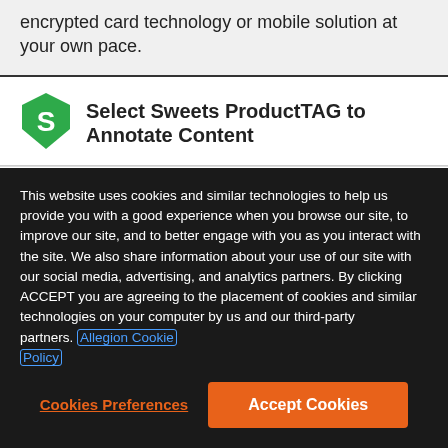encrypted card technology or mobile solution at your own pace.
[Figure (logo): Green shield icon with white 'S' letter inside]
Select Sweets ProductTAG to Annotate Content
Overview
This website uses cookies and similar technologies to help us provide you with a good experience when you browse our site, to improve our site, and to better engage with you as you interact with the site. We also share information about your use of our site with our social media, advertising, and analytics partners. By clicking ACCEPT you are agreeing to the placement of cookies and similar technologies on your computer by us and our third-party partners. Allegion Cookie Policy
Cookies Preferences
Accept Cookies